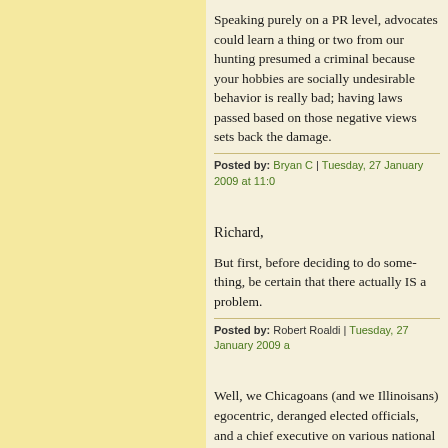Speaking purely on a PR level, advo learn a thing or two from our hunting presumed a criminal because your h socially undesirable behavior is reall laws passed based on those negative back the damage.
Posted by: Bryan C | Tuesday, 27 January 2009 at 11:0
Richard,
But first, before deciding to do some be certain that there actually IS a pr
Posted by: Robert Roaldi | Tuesday, 27 January 2009 a
Well, we Chicagoans (and we Illinoi egocentric, deranged elected official chief executive on various national p against a wall of self-evident guilt.